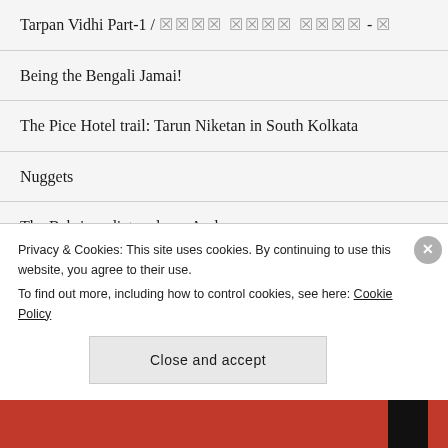Tarpan Vidhi Part-1 / [unreadable text] - [unreadable]
Being the Bengali Jamai!
The Pice Hotel trail: Tarun Niketan in South Kolkata
Nuggets
The Babri verdict and me. And us.
The ones I love to read
Privacy & Cookies: This site uses cookies. By continuing to use this website, you agree to their use. To find out more, including how to control cookies, see here: Cookie Policy
Close and accept